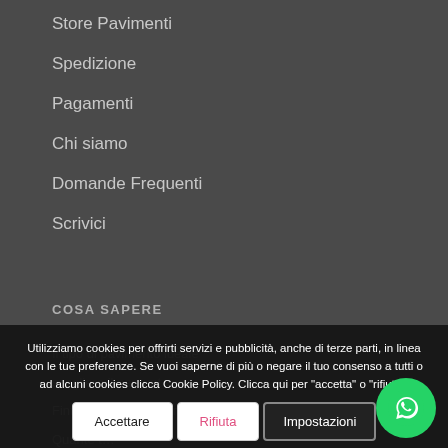Store Pavimenti
Spedizione
Pagamenti
Chi siamo
Domande Frequenti
Scrivici
COSA SAPERE
Utilizziamo cookies per offrirti servizi e pubblicità, anche di terze parti, in linea con le tue preferenze. Se vuoi saperne di più o negare il tuo consenso a tutti o ad alcuni cookies clicca Cookie Policy. Clicca qui per "accetta" o "rifiuta".